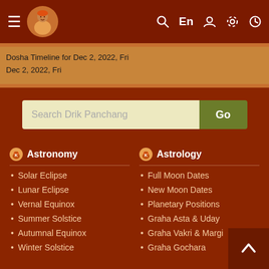Drik Panchang navigation bar with hamburger menu, logo, search, En, user, settings, clock icons
Dosha Timeline for Dec 2, 2022, Fri
Dec 2, 2022, Fri
Search Drik Panchang
Astronomy
Solar Eclipse
Lunar Eclipse
Vernal Equinox
Summer Solstice
Autumnal Equinox
Winter Solstice
Astrology
Full Moon Dates
New Moon Dates
Planetary Positions
Graha Asta & Uday
Graha Vakri & Margi
Graha Gochara